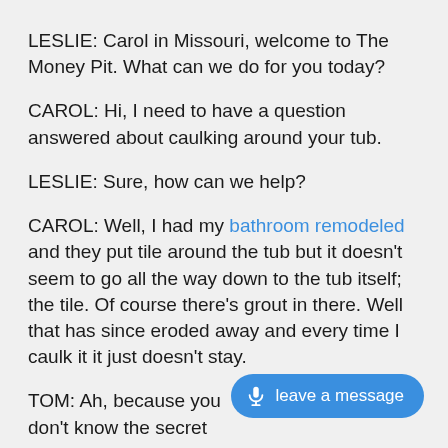LESLIE: Carol in Missouri, welcome to The Money Pit. What can we do for you today?
CAROL: Hi, I need to have a question answered about caulking around your tub.
LESLIE: Sure, how can we help?
CAROL: Well, I had my bathroom remodeled and they put tile around the tub but it doesn't seem to go all the way down to the tub itself; the tile. Of course there's grout in there. Well that has since eroded away and every time I caulk it it just doesn't stay.
TOM: Ah, because you don't know the secret way